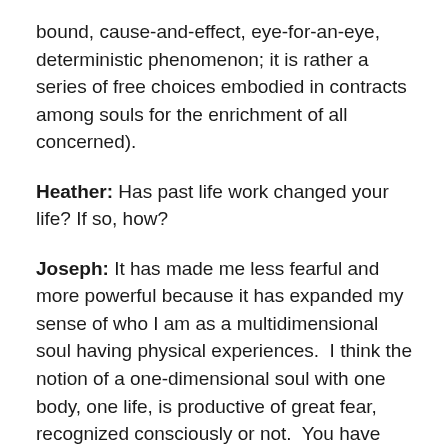bound, cause-and-effect, eye-for-an-eye, deterministic phenomenon; it is rather a series of free choices embodied in contracts among souls for the enrichment of all concerned).
Heather: Has past life work changed your life? If so, how?
Joseph: It has made me less fearful and more powerful because it has expanded my sense of who I am as a multidimensional soul having physical experiences.  I think the notion of a one-dimensional soul with one body, one life, is productive of great fear, recognized consciously or not.  You have one chance to grow, to get it “right” before you are judged as worthy or not—my gosh, how scary!  Having grown up Catholic, that’s what I was taught, yet always pushed against.  The one-life model also robs the individual of all the resources that are waiting to be